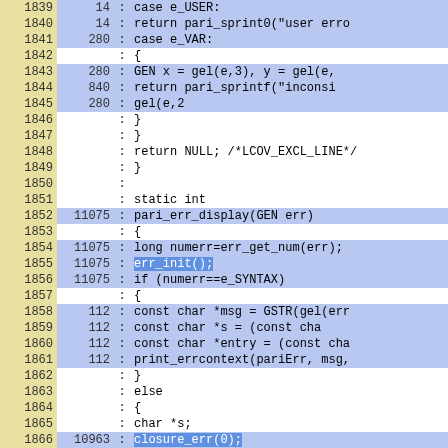[Figure (screenshot): Code coverage viewer showing C source code lines 1839-1868 with line numbers (yellow column), execution counts (blue column), colon separator, and code content. Some rows are highlighted in blue indicating executed lines.]